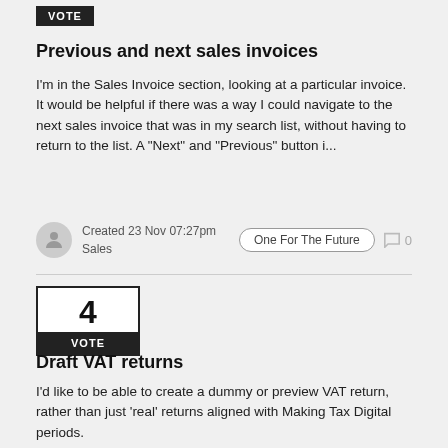VOTE
Previous and next sales invoices
I'm in the Sales Invoice section, looking at a particular invoice. It would be helpful if there was a way I could navigate to the next sales invoice that was in my search list, without having to return to the list. A "Next" and "Previous" button i...
Created 23 Nov 07:27pm
Sales
One For The Future
0
4
VOTE
Draft VAT returns
I'd like to be able to create a dummy or preview VAT return, rather than just 'real' returns aligned with Making Tax Digital periods.
Created 23 Nov 07:27pm
VAT/Taxes
One For The Future
0